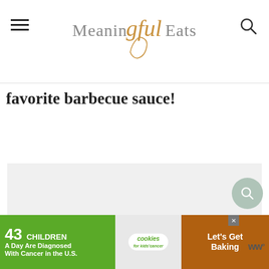Meaningful Eats
favorite barbecue sauce!
[Figure (photo): Loading placeholder image area with three dots indicator]
[Figure (other): Green search circle button overlay]
[Figure (infographic): Advertisement banner: 43 CHILDREN A Day Are Diagnosed With Cancer in the U.S. - cookies for kids cancer - Let's Get Baking]